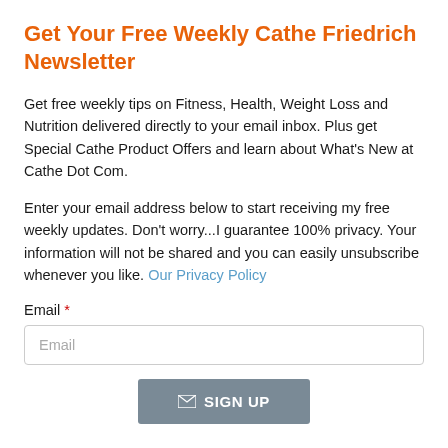Get Your Free Weekly Cathe Friedrich Newsletter
Get free weekly tips on Fitness, Health, Weight Loss and Nutrition delivered directly to your email inbox. Plus get Special Cathe Product Offers and learn about What's New at Cathe Dot Com.
Enter your email address below to start receiving my free weekly updates. Don't worry...I guarantee 100% privacy. Your information will not be shared and you can easily unsubscribe whenever you like. Our Privacy Policy